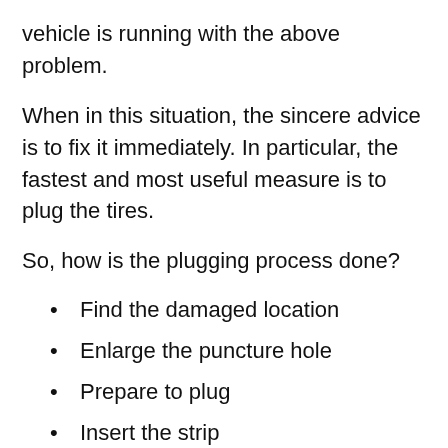vehicle is running with the above problem.
When in this situation, the sincere advice is to fix it immediately. In particular, the fastest and most useful measure is to plug the tires.
So, how is the plugging process done?
Find the damaged location
Enlarge the puncture hole
Prepare to plug
Insert the strip
Fill the tire with air
Cut off the excess
Check the damaged tire for the location